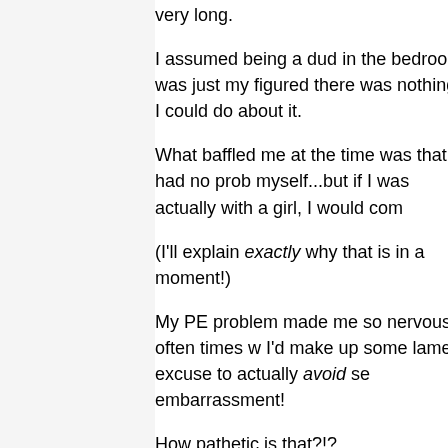very long.
I assumed being a dud in the bedroom was just my figured there was nothing I could do about it.
What baffled me at the time was that I had no prob myself...but if I was actually with a girl, I would com
(I'll explain exactly why that is in a moment!)
My PE problem made me so nervous, often times w I'd make up some lame excuse to actually avoid se embarrassment!
How pathetic is that?!?
Frustrated and confused, I vented my emotions by
I started sparring in my teens and actually got prett consistently beating ranked opponents.
Before long, that weak little boy was gone, and wo messed with.